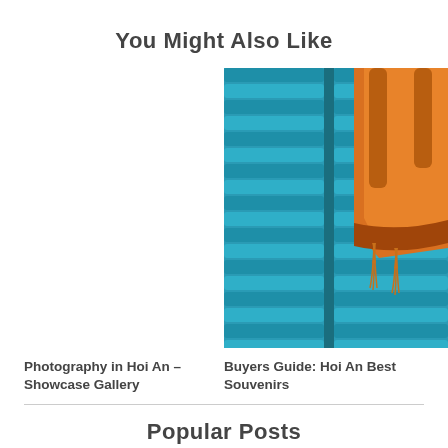You Might Also Like
[Figure (photo): Orange leather handbag with tassels against a blue painted wooden shutter background]
Photography in Hoi An – Showcase Gallery
Buyers Guide: Hoi An Best Souvenirs
Popular Posts